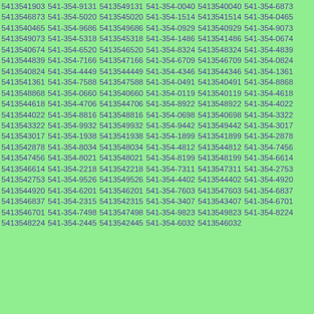5413541903 541-354-9131 5413549131 541-354-0040 5413540040 541-354-6873 5413546873 541-354-5020 5413545020 541-354-1514 5413541514 541-354-0465 5413540465 541-354-9686 5413549686 541-354-0929 5413540929 541-354-9073 5413549073 541-354-5318 5413545318 541-354-1486 5413541486 541-354-0674 5413540674 541-354-6520 5413546520 541-354-8324 5413548324 541-354-4839 5413544839 541-354-7166 5413547166 541-354-6709 5413546709 541-354-0824 5413540824 541-354-4449 5413544449 541-354-4346 5413544346 541-354-1361 5413541361 541-354-7588 5413547588 541-354-0491 5413540491 541-354-8868 5413548868 541-354-0660 5413540660 541-354-0119 5413540119 541-354-4618 5413544618 541-354-4706 5413544706 541-354-8922 5413548922 541-354-4022 5413544022 541-354-8816 5413548816 541-354-0698 5413540698 541-354-3322 5413543322 541-354-9932 5413549932 541-354-9442 5413549442 541-354-3017 5413543017 541-354-1938 5413541938 541-354-1899 5413541899 541-354-2878 5413542878 541-354-8034 5413548034 541-354-4812 5413544812 541-354-7456 5413547456 541-354-8021 5413548021 541-354-8199 5413548199 541-354-6614 5413546614 541-354-2218 5413542218 541-354-7311 5413547311 541-354-2753 5413542753 541-354-9526 5413549526 541-354-4402 5413544402 541-354-4920 5413544920 541-354-6201 5413546201 541-354-7603 5413547603 541-354-6837 5413546837 541-354-2315 5413542315 541-354-3407 5413543407 541-354-6701 5413546701 541-354-7498 5413547498 541-354-9823 5413549823 541-354-8224 5413548224 541-354-2445 5413542445 541-354-6032 5413546032